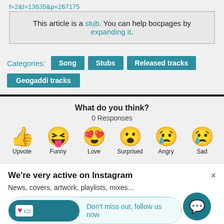f=2&t=13635&p=267175
This article is a stub. You can help bocpages by expanding it.
Categories: Song  Stubs  Released tracks  Geogaddi tracks
What do you think?
0 Responses
[Figure (infographic): Six emoji reaction buttons: Upvote (thumbs up), Funny (laughing face), Love (heart eyes), Surprised (surprised face), Angry (crying face), Sad (sad face with tear)]
We're very active on Instagram
News, covers, artwork, playlists, mixes...
Don't miss out, follow us now